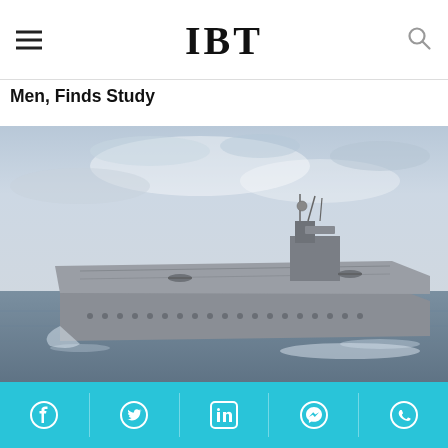IBT
Men, Finds Study
[Figure (photo): Aerial photograph of INS Vikrant aircraft carrier sailing at sea with cloudy sky background]
INS Vikrant: A Collective Effort Of All Govts Since 1999, Congress Claims [Details]
[Figure (infographic): Social media sharing bar with Facebook, Twitter, LinkedIn, Messenger, and WhatsApp icons on cyan/teal background]